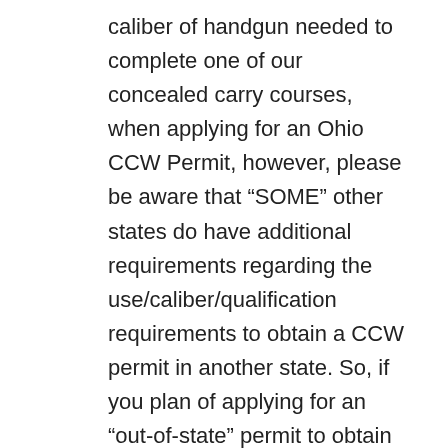caliber of handgun needed to complete one of our concealed carry courses, when applying for an Ohio CCW Permit, however, please be aware that “SOME” other states do have additional requirements regarding the use/caliber/qualification requirements to obtain a CCW permit in another state. So, if you plan of applying for an “out-of-state” permit to obtain a license/permit from another state to carry a concealed firearm, please be sure to inform the instructor, so that we can be sure that you comply with any additional requirements. We do strongly suggest that any new/novice shooter begin with a smaller caliber, to allow for better control of the firearm and to build a strong foundation for which the shooter can develop the skills needed to